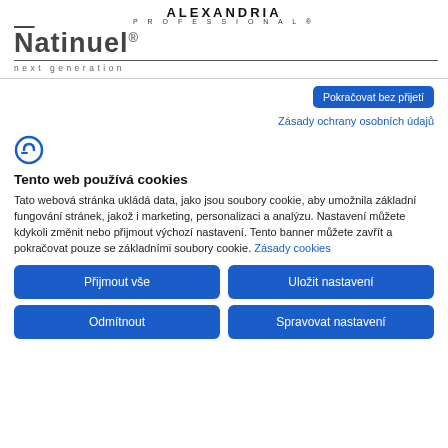ALEXANDRIA PROFESSIONAL®
[Figure (logo): Natinuel next generation logo with overlined N and registered trademark symbol]
Pokračovat bez přijetí
Zásady ochrany osobních údajů
[Figure (logo): Cookie consent icon - stylized C with check]
Tento web používá cookies
Tato webová stránka ukládá data, jako jsou soubory cookie, aby umožnila základní fungování stránek, jakož i marketing, personalizaci a analýzu. Nastavení můžete kdykoli změnit nebo přijmout výchozí nastavení. Tento banner můžete zavřít a pokračovat pouze se základními soubory cookie. Zásady cookies
Přijmout vše
Uložit nastavení
Odmítnout
Spravovat nastavení